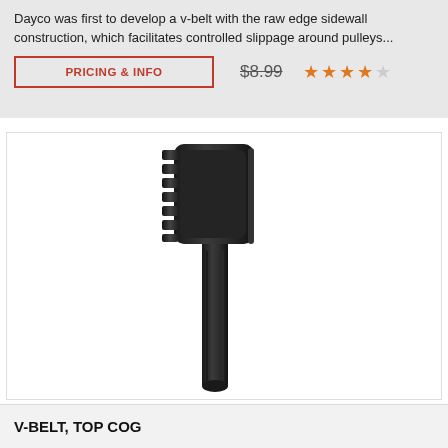Dayco was first to develop a v-belt with the raw edge sidewall construction, which facilitates controlled slippage around pulleys...
PRICING & INFO  $8.99  ★★★★☆
[Figure (photo): Side view of a Dayco V-Belt Top Cog, showing the toothed/cogged profile along the inner surface of a dark rubber belt loop.]
V-BELT, TOP COG